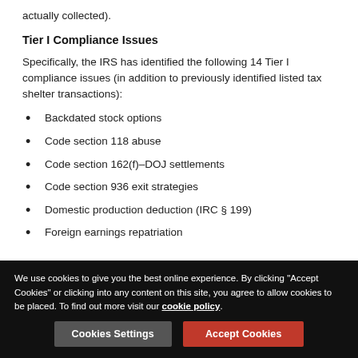actually collected).
Tier I Compliance Issues
Specifically, the IRS has identified the following 14 Tier I compliance issues (in addition to previously identified listed tax shelter transactions):
Backdated stock options
Code section 118 abuse
Code section 162(f)–DOJ settlements
Code section 936 exit strategies
Domestic production deduction (IRC § 199)
Foreign earnings repatriation
We use cookies to give you the best online experience. By clicking "Accept Cookies" or clicking into any content on this site, you agree to allow cookies to be placed. To find out more visit our cookie policy.